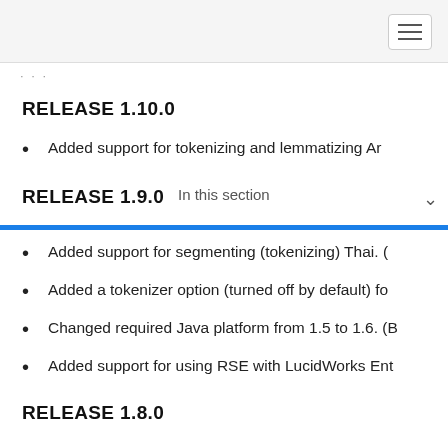RELEASE 1.10.0
Added support for tokenizing and lemmatizing Ar
RELEASE 1.9.0
Added support for segmenting (tokenizing) Thai. (
Added a tokenizer option (turned off by default) fo
Changed required Java platform from 1.5 to 1.6. (B
Added support for using RSE with LucidWorks Ent
RELEASE 1.8.0